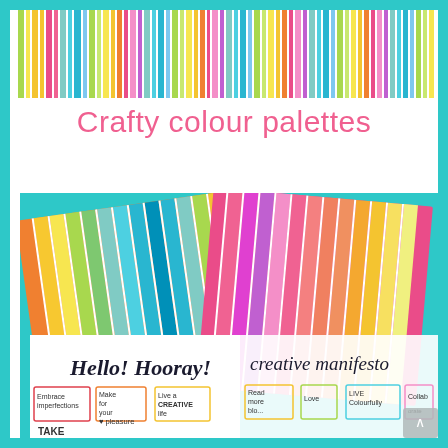[Figure (illustration): Colorful vertical stripes banner across top of page — rainbow colored thin stripes on white background]
Crafty colour palettes
[Figure (photo): Photo of open craft books/pamphlets showing colorful striped covers with orange, green, teal, blue, pink, purple and orange gradient stripes on teal background, with white pages showing 'Hello! Hooray!' and 'creative manifesto' handwritten text and small boxed phrases like 'Embrace imperfections', 'Make for your pleasure', 'Live a CREATIVE life', 'Read more', 'LIVE Colourfully', 'Collaborate']